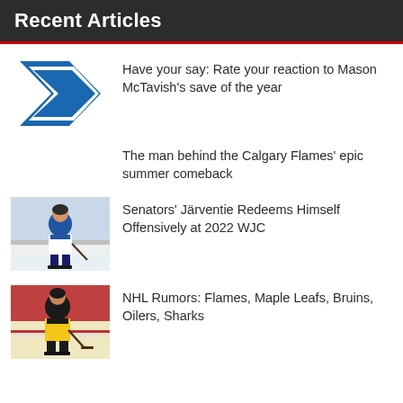Recent Articles
Have your say: Rate your reaction to Mason McTavish's save of the year
The man behind the Calgary Flames' epic summer comeback
Senators' Järventie Redeems Himself Offensively at 2022 WJC
NHL Rumors: Flames, Maple Leafs, Bruins, Oilers, Sharks